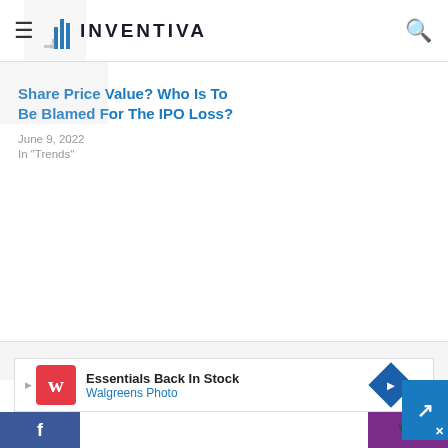INVENTIVA
Share Price Value? Who Is To Be Blamed For The IPO Loss?
June 9, 2022
In "Trends"
[Figure (illustration): Generic user avatar placeholder — grey circle with person silhouette]
[Figure (advertisement): Walgreens ad: Essentials Back In Stock, Walgreens Photo]
Facebook | Walgreens ad | Phone